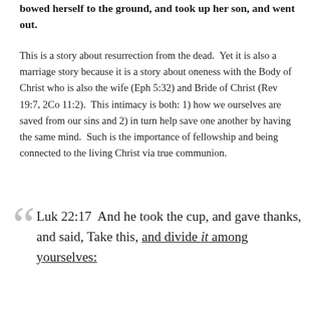bowed herself to the ground, and took up her son, and went out.
This is a story about resurrection from the dead.  Yet it is also a marriage story because it is a story about oneness with the Body of Christ who is also the wife (Eph 5:32) and Bride of Christ (Rev 19:7, 2Co 11:2).  This intimacy is both: 1) how we ourselves are saved from our sins and 2) in turn help save one another by having the same mind.  Such is the importance of fellowship and being connected to the living Christ via true communion.
Luk 22:17  And he took the cup, and gave thanks, and said, Take this, and divide it among yourselves: